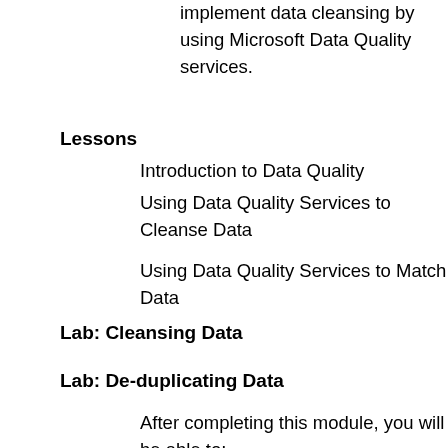implement data cleansing by using Microsoft Data Quality services.
Lessons
Introduction to Data Quality
Using Data Quality Services to Cleanse Data
Using Data Quality Services to Match Data
Lab: Cleansing Data
Lab: De-duplicating Data
After completing this module, you will be able to:
Describe data quality services
Cleanse data using data quality services
Match data using data quality services